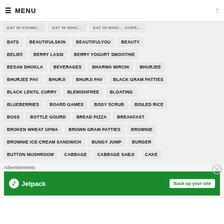MENU
BATS
BEAUTIFULSKIN
BEAUTIFULYOU
BEAUTY
BELIEF
BERRY LASSI
BERRY YOGURT SMOOTHIE
BESAN DHOKLA
BEVERAGES
BHARWA MIRCHI
BHURJEE
BHURJEE PAV
BHURJI
BHURJI PAV
BLACK GRAM PATTIES
BLACK LENTIL CURRY
BLEMISHFREE
BLOATING
BLUEBERRIES
BOARD GAMES
BODY SCRUB
BOILED RICE
BOSS
BOTTLE GOURD
BREAD PIZZA
BREAKFAST
BROKEN WHEAT UPMA
BROWN GRAM PATTIES
BROWNIE
BROWNIE ICE-CREAM SANDWICH
BUNGY JUMP
BURGER
BUTTON MUSHROOM
CABBAGE
CABBAGE SABJI
CAKE
[Figure (screenshot): Jetpack advertisement banner: green background with Jetpack logo and 'Back up your site' button]